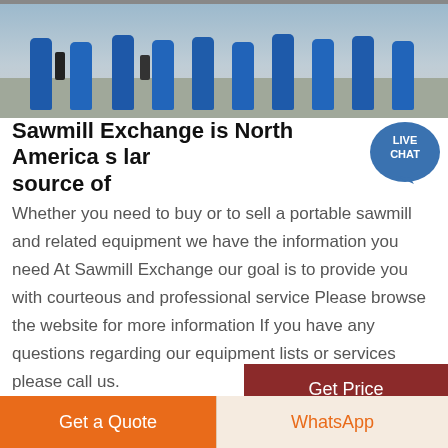[Figure (photo): Photo of industrial sawmill equipment with blue cylindrical machines on a warehouse floor, workers visible in background]
Sawmill Exchange is North America s largest source of
Whether you need to buy or to sell a portable sawmill and related equipment we have the information you need At Sawmill Exchange our goal is to provide you with courteous and professional service Please browse the website for more information If you have any questions regarding our equipment lists or services please call us.
Get Price
Get a Quote
WhatsApp